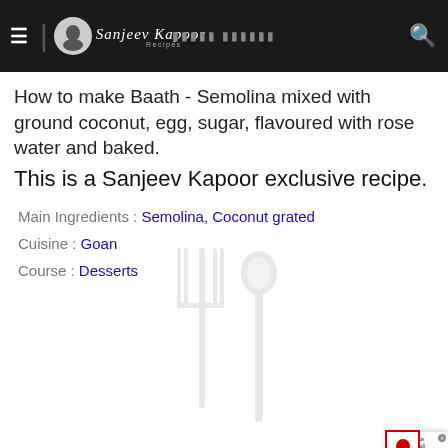≡ | Sanjeev Kapoor Recipes [nav bar with logo and search]
How to make Baath - Semolina mixed with ground coconut, egg, sugar, flavoured with rose water and baked.
This is a Sanjeev Kapoor exclusive recipe.
Main Ingredients : Semolina, Coconut grated
Cuisine : Goan
Course : Desserts
[Figure (screenshot): Featured recipe popup overlay showing 'How to make Zarda Boondi Biryani, recipe by MasterChef Sanjeev Kapoor' with a food photo, blue vertical 'FEATURED RECIPES' tab, and a close button]
[Figure (illustration): Decorative fork/spoon silhouette in light gray at the bottom of the page]